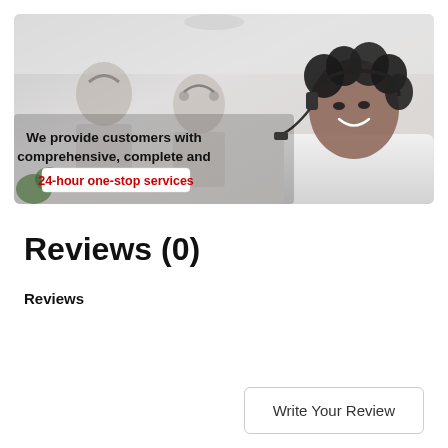[Figure (photo): Call center photo showing three customer service agents wearing headsets. A smiling Black woman in a white shirt is prominent in the foreground. Text overlay reads: 'We provide customers with comprehensive, complete and 24-hour one-stop services' where the last phrase is in red on a white background box.]
Reviews (0)
Reviews
Write Your Review